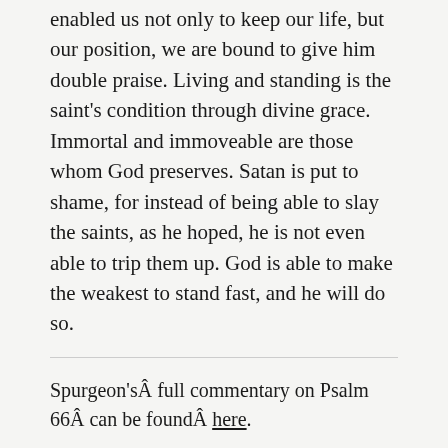enabled us not only to keep our life, but our position, we are bound to give him double praise. Living and standing is the saint's condition through divine grace. Immortal and immoveable are those whom God preserves. Satan is put to shame, for instead of being able to slay the saints, as he hoped, he is not even able to trip them up. God is able to make the weakest to stand fast, and he will do so.
Spurgeon'sÂ full commentary on Psalm 66Â can be foundÂ here.